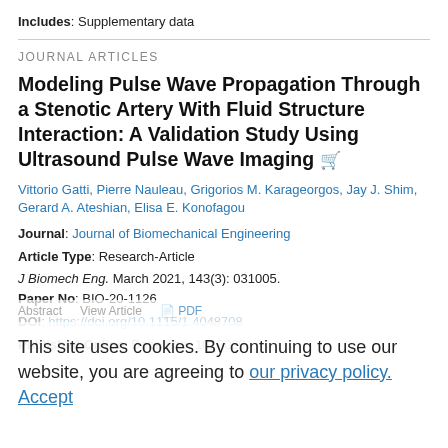Includes: Supplementary data
JOURNAL ARTICLES
Modeling Pulse Wave Propagation Through a Stenotic Artery With Fluid Structure Interaction: A Validation Study Using Ultrasound Pulse Wave Imaging
Vittorio Gatti, Pierre Nauleau, Grigorios M. Karageorgos, Jay J. Shim, Gerard A. Ateshian, Elisa E. Konofagou
Journal: Journal of Biomechanical Engineering
Article Type: Research-Article
J Biomech Eng. March 2021, 143(3): 031005.
Paper No: BIO-20-1126
DOI: https://doi.org/10.1115/1.4048708
Published Online: December 10, 2020
This site uses cookies. By continuing to use our website, you are agreeing to our privacy policy. Accept